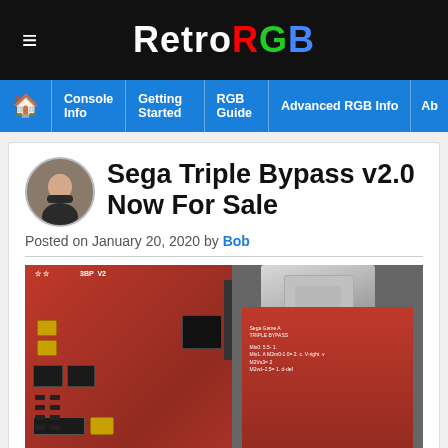RetroRGB
Console Info | Getting Started | RGB Guide | Advanced RGB Info | Ab
Sega Triple Bypass v2.0 Now For Sale
Posted on January 20, 2020 by Bob
[Figure (photo): Photo of Sega Triple Bypass v2.0 circuit board (red PCB with components) on the left, and a red cartridge module with metal clip on the right]